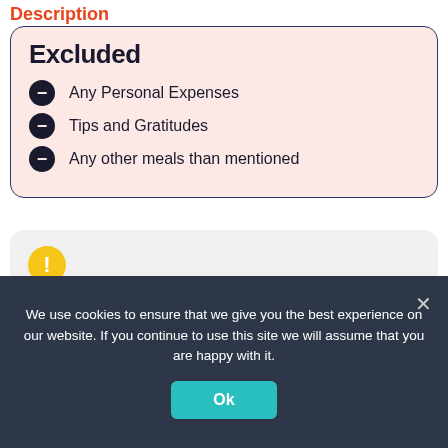Description
Excluded
Any Personal Expenses
Tips and Gratitudes
Any other meals than mentioned
Additional Information
All pricing is reflected in British Pounds unless otherwise specifically denoted and is
We use cookies to ensure that we give you the best experience on our website. If you continue to use this site we will assume that you are happy with it.